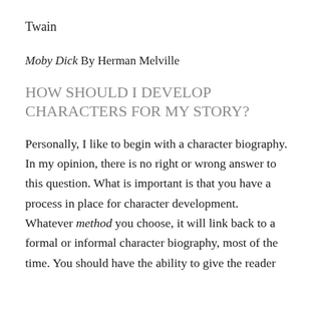Twain
Moby Dick By Herman Melville
HOW SHOULD I DEVELOP CHARACTERS FOR MY STORY?
Personally, I like to begin with a character biography. In my opinion, there is no right or wrong answer to this question. What is important is that you have a process in place for character development. Whatever method you choose, it will link back to a formal or informal character biography, most of the time. You should have the ability to give the reader